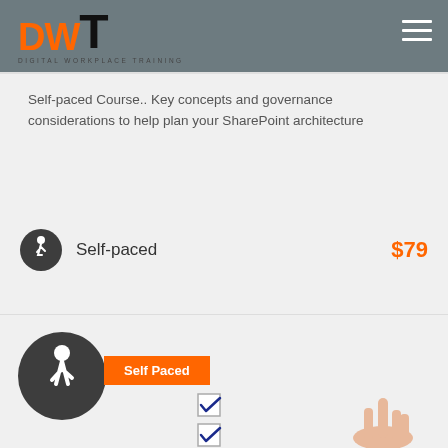DWT - Digital Workplace Training
Self-paced Course.. Key concepts and governance considerations to help plan your SharePoint architecture
Self-paced   $79
[Figure (infographic): Self Paced badge with walking person icon, checkboxes and hand illustration]